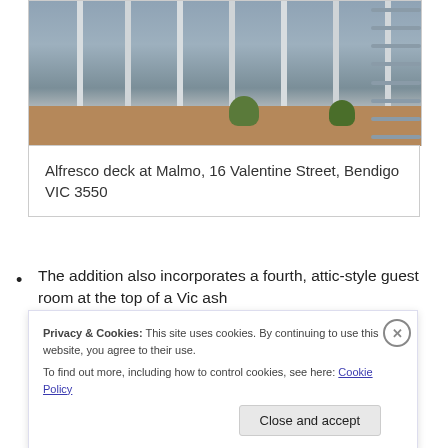[Figure (photo): Alfresco deck with glass and metal railings, potted plants, wooden floor, and horizontal slatted panels on the right side. Building façade visible in background.]
Alfresco deck at Malmo, 16 Valentine Street, Bendigo VIC 3550
The addition also incorporates a fourth, attic-style guest room at the top of a Vic ash
Privacy & Cookies: This site uses cookies. By continuing to use this website, you agree to their use.
To find out more, including how to control cookies, see here: Cookie Policy